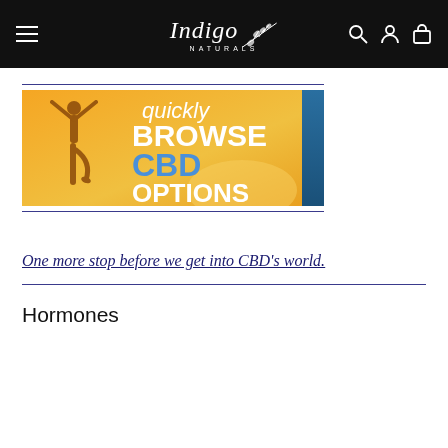Indigo Naturals — navigation header
[Figure (illustration): Promotional banner with orange/sunset background, silhouette of person in yoga tree pose, text: 'quickly BROWSE CBD OPTIONS HERE']
One more stop before we get into CBD's world.
Hormones